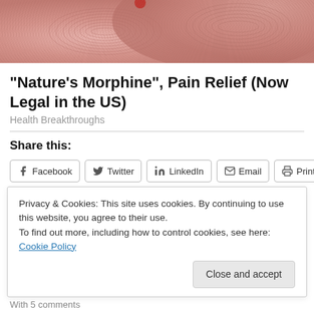[Figure (photo): Close-up photo of human fingertips showing fingerprint ridges, pink skin tones]
"Nature's Morphine", Pain Relief (Now Legal in the US)
Health Breakthroughs
Share this:
Facebook  Twitter  LinkedIn  Email  Print
Like
Be the first to like this.
Privacy & Cookies: This site uses cookies. By continuing to use this website, you agree to their use.
To find out more, including how to control cookies, see here: Cookie Policy
Close and accept
With 5 comments